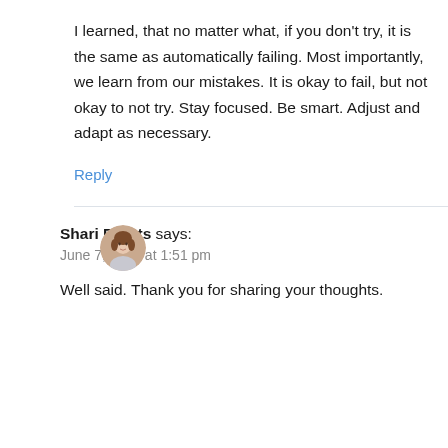I learned, that no matter what, if you don't try, it is the same as automatically failing. Most importantly, we learn from our mistakes. It is okay to fail, but not okay to not try. Stay focused. Be smart. Adjust and adapt as necessary.
Reply
[Figure (photo): Circular avatar photo of a woman with brown hair]
Shari Eberts says:
June 7, 2022 at 1:51 pm
Well said. Thank you for sharing your thoughts.